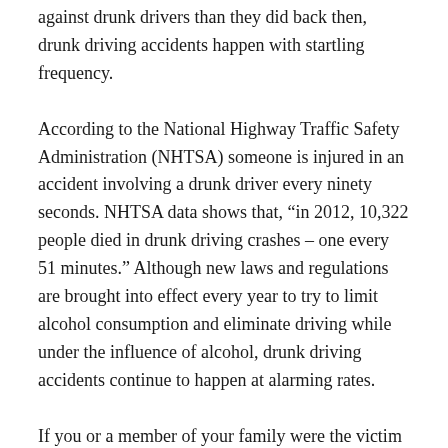against drunk drivers than they did back then, drunk driving accidents happen with startling frequency.
According to the National Highway Traffic Safety Administration (NHTSA) someone is injured in an accident involving a drunk driver every ninety seconds. NHTSA data shows that, “in 2012, 10,322 people died in drunk driving crashes – one every 51 minutes.” Although new laws and regulations are brought into effect every year to try to limit alcohol consumption and eliminate driving while under the influence of alcohol, drunk driving accidents continue to happen at alarming rates.
If you or a member of your family were the victim of an automobile accident involving a drunk driver, you deserve to make a claim for your damages. Automobile accidents already happen with disquieting frequency. If someone has made you an unfortunate party to one of the many drunk